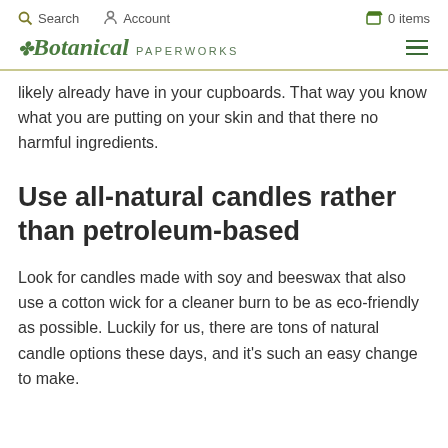Search  Account  0 items
Botanical PAPERWORKS
likely already have in your cupboards. That way you know what you are putting on your skin and that there no harmful ingredients.
Use all-natural candles rather than petroleum-based
Look for candles made with soy and beeswax that also use a cotton wick for a cleaner burn to be as eco-friendly as possible. Luckily for us, there are tons of natural candle options these days, and it's such an easy change to make.